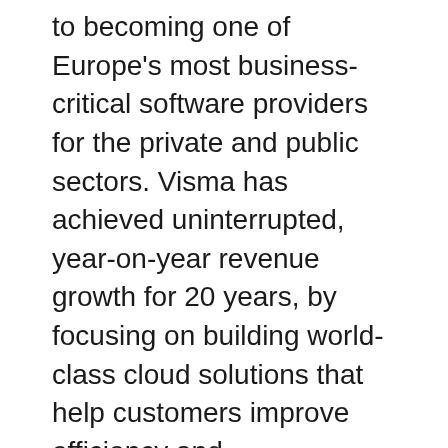to becoming one of Europe's most business-critical software providers for the private and public sectors. Visma has achieved uninterrupted, year-on-year revenue growth for 20 years, by focusing on building world-class cloud solutions that help customers improve efficiency and competitiveness.
Merete Hverven, Visma's CEO, said: “It is thanks to Visma’s dedicated and talented employees, with their entrepreneurial mindset and local expertise, that we have achieved our position in Europe today.